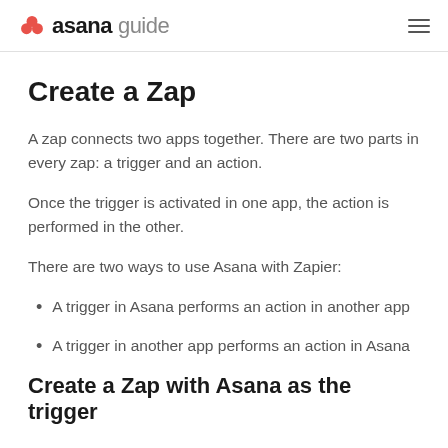asana guide
Create a Zap
A zap connects two apps together. There are two parts in every zap: a trigger and an action.
Once the trigger is activated in one app, the action is performed in the other.
There are two ways to use Asana with Zapier:
A trigger in Asana performs an action in another app
A trigger in another app performs an action in Asana
Create a Zap with Asana as the trigger